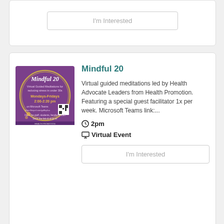I'm Interested
Mindful 20
[Figure (illustration): Purple square poster for Mindful 20 virtual guided meditations, Mondays-Fridays 2:00-2:20 pm on Microsoft Teams, with QR code]
Virtual guided meditations led by Health Advocate Leaders from Health Promotion. Featuring a special guest facilitator 1x per week. Microsoft Teams link:...
2pm
Virtual Event
I'm Interested
New Pride Banner Celebration
You are invited to join us for a